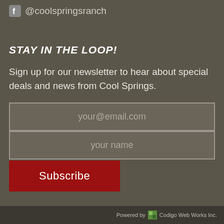@coolspringsranch
STAY IN THE LOOP!
Sign up for our newsletter to hear about special deals and news from Cool Springs.
your@email.com
your name
Subscribe
Powered by Codigo Web Works Inc.